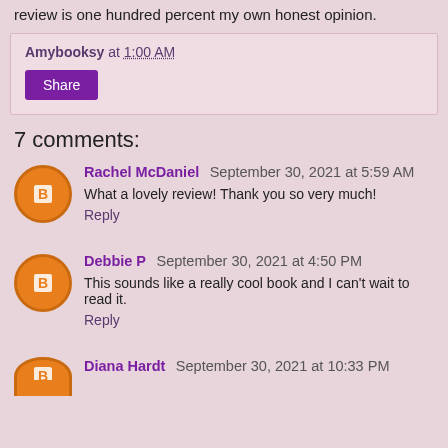review is one hundred percent my own honest opinion.
Amybooksy at 1:00 AM
Share
7 comments:
Rachel McDaniel September 30, 2021 at 5:59 AM
What a lovely review! Thank you so very much!
Reply
Debbie P September 30, 2021 at 4:50 PM
This sounds like a really cool book and I can't wait to read it.
Reply
Diana Hardt September 30, 2021 at 10:33 PM